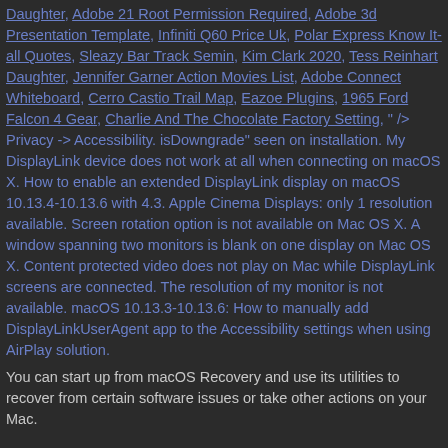Daughter, Adobe 21 Root Permission Required, Adobe 3d Presentation Template, Infiniti Q60 Price Uk, Polar Express Know It-all Quotes, Sleazy Bar Track Semin, Kim Clark 2020, Tess Reinhart Daughter, Jennifer Garner Action Movies List, Adobe Connect Whiteboard, Cerro Castio Trail Map, Eazoe Plugins, 1965 Ford Falcon 4 Gear, Charlie And The Chocolate Factory Setting, " /> Privacy -> Accessibility. isDowngrade" seen on installation. My DisplayLink device does not work at all when connecting on macOS X. How to enable an extended DisplayLink display on macOS 10.13.4-10.13.6 with 4.3. Apple Cinema Displays: only 1 resolution available. Screen rotation option is not available on Mac OS X. A window spanning two monitors is blank on one display on Mac OS X. Content protected video does not play on Mac while DisplayLink screens are connected. The resolution of my monitor is not available. macOS 10.13.3-10.13.6: How to manually add DisplayLinkUserAgent app to the Accessibility settings when using AirPlay solution.
You can start up from macOS Recovery and use its utilities to recover from certain software issues or take other actions on your Mac.
3. Open the Security & Privacy settings and click on the lock to make changes as shown below: On the dropdown, select the Disk that the OS is Installed on: Navigate to the DisplayLinkUserAgent and click "Open", macOS